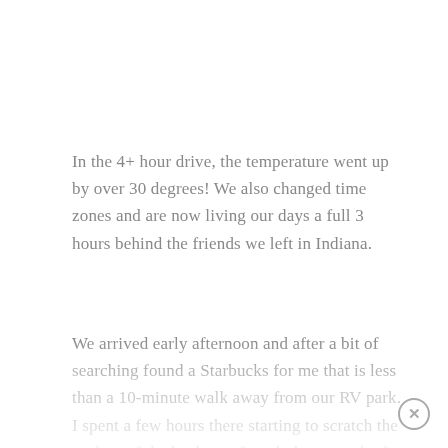In the 4+ hour drive, the temperature went up by over 30 degrees! We also changed time zones and are now living our days a full 3 hours behind the friends we left in Indiana.
We arrived early afternoon and after a bit of searching found a Starbucks for me that is less than a 10-minute walk away from our RV park. I spent a few hours there starting to scratch the surface of the back up of work that a week of either slow internet or no internet left me with. I am hoping that by the time we leave here I will be caught up again. I am sorry for not saving a saving money one last time…